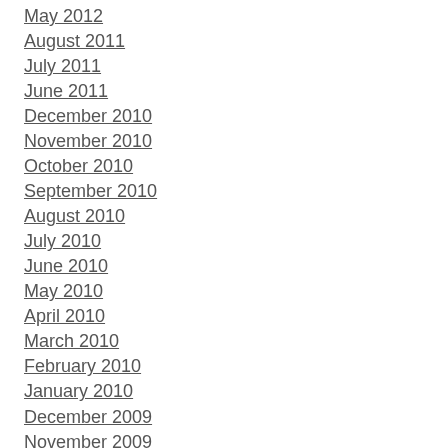May 2012
August 2011
July 2011
June 2011
December 2010
November 2010
October 2010
September 2010
August 2010
July 2010
June 2010
May 2010
April 2010
March 2010
February 2010
January 2010
December 2009
November 2009
October 2009